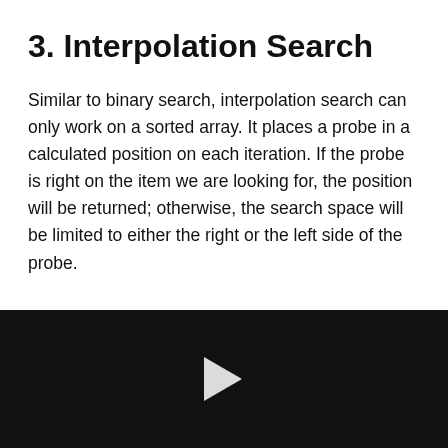3. Interpolation Search
Similar to binary search, interpolation search can only work on a sorted array. It places a probe in a calculated position on each iteration. If the probe is right on the item we are looking for, the position will be returned; otherwise, the search space will be limited to either the right or the left side of the probe.
[Figure (other): Black video player panel with a white play button triangle in the center]